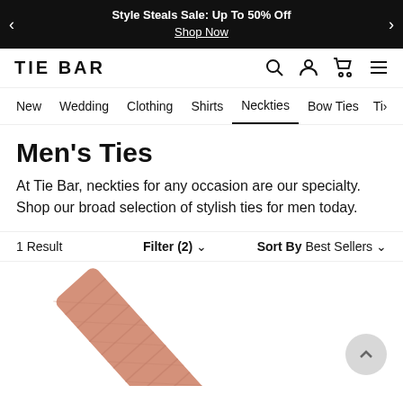Style Steals Sale: Up To 50% Off Shop Now
[Figure (logo): TIE BAR logo with search, account, cart, and menu icons]
New   Wedding   Clothing   Shirts   Neckties   Bow Ties   Ti›
Men's Ties
At Tie Bar, neckties for any occasion are our specialty. Shop our broad selection of stylish ties for men today.
1 Result   Filter (2) ∨   Sort By Best Sellers ∨
[Figure (photo): Partial image of a pink/salmon patterned necktie rolled or folded, shown at bottom of page]